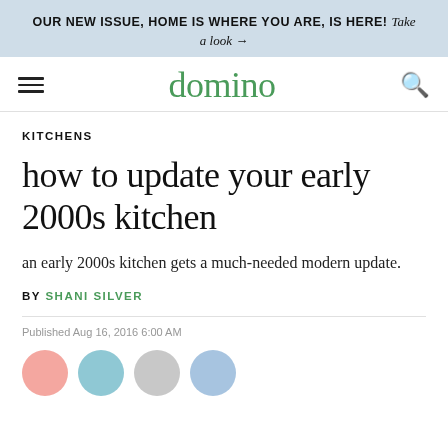OUR NEW ISSUE, HOME IS WHERE YOU ARE, IS HERE! Take a look →
domino
KITCHENS
how to update your early 2000s kitchen
an early 2000s kitchen gets a much-needed modern update.
BY SHANI SILVER
Published Aug 16, 2016 6:00 AM